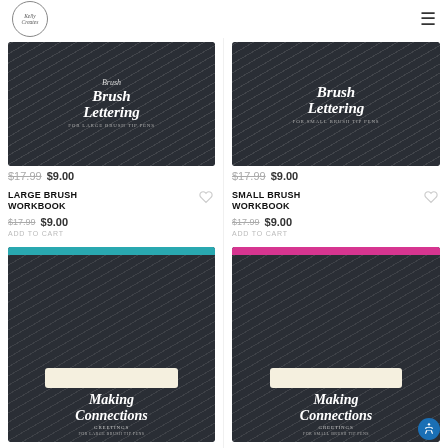Kelly Creates logo and navigation
[Figure (photo): Brush Lettering workbook for large brush tip pens, dark cover]
$17.99 $9.00
LARGE BRUSH WORKBOOK
$17.99 $9.00
ADD TO CART
[Figure (photo): Brush Lettering workbook for small brush tip pens, dark cover]
$17.99 $9.00
SMALL BRUSH WORKBOOK
$17.99 $9.00
ADD TO CART
[Figure (photo): Making Connections Greetings workbook with teal spiral binding, dark cover]
[Figure (photo): Making Connections Greetings workbook with pink spiral binding, dark cover]